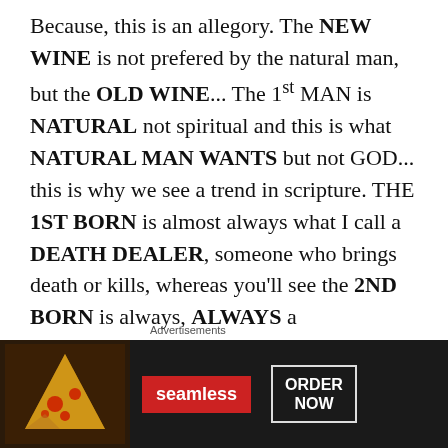Because, this is an allegory. The NEW WINE is not prefered by the natural man, but the OLD WINE... The 1st MAN is NATURAL not spiritual and this is what NATURAL MAN WANTS but not GOD... this is why we see a trend in scripture. THE 1ST BORN is almost always what I call a DEATH DEALER, someone who brings death or kills, whereas you'll see the 2ND BORN is always, ALWAYS a SHEPHARD! Sound like anyone we know?
That's right, the Big Kahuna! CHRIST!
[Figure (infographic): Advertisement banner for Seamless food delivery with pizza image, Seamless logo in red, and ORDER NOW button]